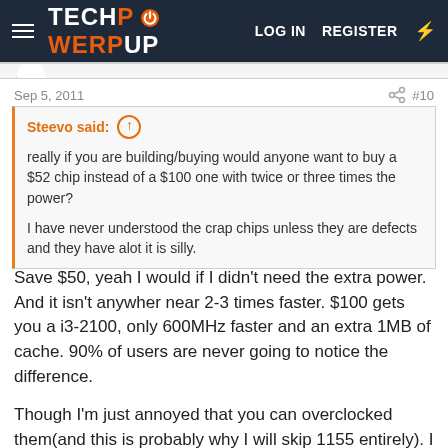TECHPOWERUP  LOG IN  REGISTER
Sep 5, 2011   #10
Steevo said: ↑

really if you are building/buying would anyone want to buy a $52 chip instead of a $100 one with twice or three times the power?

I have never understood the crap chips unless they are defects and they have alot it is silly.
Save $50, yeah I would if I didn't need the extra power. And it isn't anywher near 2-3 times faster. $100 gets you a i3-2100, only 600MHz faster and an extra 1MB of cache. 90% of users are never going to notice the difference.

Though I'm just annoyed that you can overclocked them(and this is probably why I will skip 1155 entirely). I like nothing more than to take a $50 CPU, overclock the snot out of it, and enjoy well more than from performance from it for next to no cost.